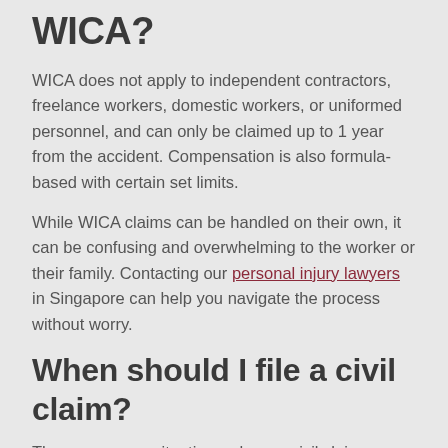WICA?
WICA does not apply to independent contractors, freelance workers, domestic workers, or uniformed personnel, and can only be claimed up to 1 year from the accident. Compensation is also formula-based with certain set limits.
While WICA claims can be handled on their own, it can be confusing and overwhelming to the worker or their family. Contacting our personal injury lawyers in Singapore can help you navigate the process without worry.
When should I file a civil claim?
There are some situations where a civil claim may be more appropriate:
1. If you do not meet WICA eligibility